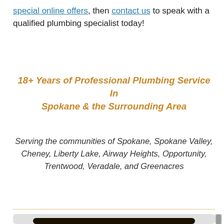special online offers, then contact us to speak with a qualified plumbing specialist today!
18+ Years of Professional Plumbing Service In Spokane & the Surrounding Area
Serving the communities of Spokane, Spokane Valley, Cheney, Liberty Lake, Airway Heights, Opportunity, Trentwood, Veradale, and Greenacres
[Figure (other): Online Offer promotional box with dark background reading 'ONLINE OFFER for new home buyers free plumbing inspection']